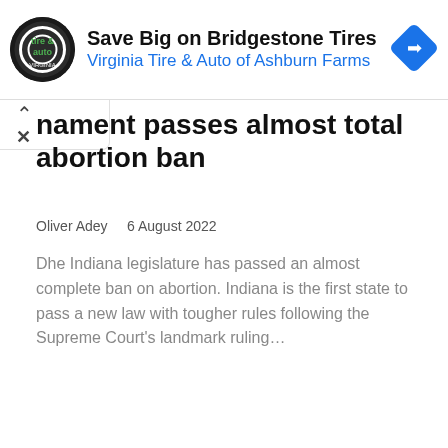[Figure (logo): Virginia Tire & Auto advertisement banner with circular logo, ad headline 'Save Big on Bridgestone Tires', subtitle 'Virginia Tire & Auto of Ashburn Farms', and a blue diamond navigation icon on the right]
…nament passes almost total abortion ban
Oliver Adey   6 August 2022
Dhe Indiana legislature has passed an almost complete ban on abortion. Indiana is the first state to pass a new law with tougher rules following the Supreme Court's landmark ruling…